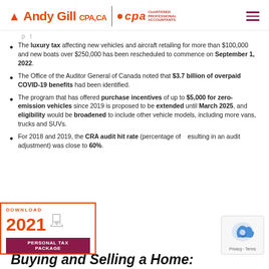Andy Gill CPA, CA | CPA Chartered Professional Accountants
p t
The luxury tax affecting new vehicles and aircraft retailing for more than $100,000 and new boats over $250,000 has been rescheduled to commence on September 1, 2022.
The Office of the Auditor General of Canada noted that $3.7 billion of overpaid COVID-19 benefits had been identified.
The program that has offered purchase incentives of up to $5,000 for zero-emission vehicles since 2019 is proposed to be extended until March 2025, and eligibility would be broadened to include other vehicle models, including more vans, trucks and SUVs.
For 2018 and 2019, the CRA audit hit rate (percentage of audits resulting in an audit adjustment) was close to 60%.
[Figure (other): Download 2021 Personal Tax Package promotional banner with download icon]
Buying and Selling a Home: